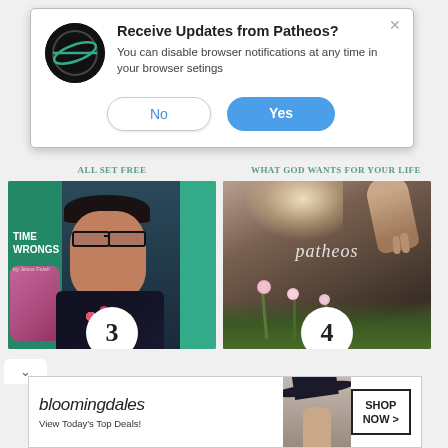[Figure (screenshot): Browser notification popup asking 'Receive Updates from Patheos?' with No and Yes buttons, overlaid on a webpage showing article thumbnails labeled 3 and 4 with section headers 'ALL SET FREE' and 'WHAT GOD WANTS FOR YOUR LIFE', and a Bloomingdales ad banner at the bottom.]
Receive Updates from Patheos?
You can disable browser notifications at any time in your browser setings
No
Yes
ALL SET FREE
WHAT GOD WANTS FOR YOUR LIFE
[Figure (photo): Thumbnail 3: Woman with glasses and floral blouse, green background with TIME WRONGS text]
[Figure (photo): Thumbnail 4: Patheos logo over atmospheric image of hands and flowers]
[Figure (photo): Bloomingdales advertisement: 'bloomingdales View Today's Top Deals! SHOP NOW >']